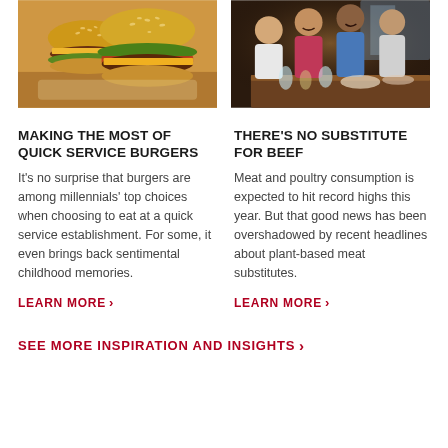[Figure (photo): Photo of multiple cheeseburgers with sesame seed buns, lettuce, tomato, and cheese on a white plate]
[Figure (photo): Photo of a group of people dining at a restaurant, laughing and enjoying a meal together]
MAKING THE MOST OF QUICK SERVICE BURGERS
THERE'S NO SUBSTITUTE FOR BEEF
It's no surprise that burgers are among millennials' top choices when choosing to eat at a quick service establishment. For some, it even brings back sentimental childhood memories.
Meat and poultry consumption is expected to hit record highs this year. But that good news has been overshadowed by recent headlines about plant-based meat substitutes.
LEARN MORE ›
LEARN MORE ›
SEE MORE INSPIRATION AND INSIGHTS ›